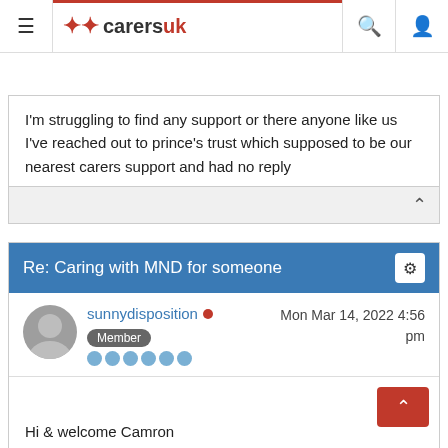carersuk — Board index / Support & Advice / Young adult carers
I'm struggling to find any support or there anyone like us I've reached out to prince's trust which supposed to be our nearest carers support and had no reply
Re: Caring with MND for someone
sunnydisposition  Mon Mar 14, 2022 4:56 pm  Member
Hi & welcome Camron